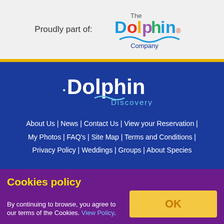Proudly part of:
[Figure (logo): The Dolphin Company logo]
[Figure (logo): Dolphin Discovery logo]
About Us | News | Contact Us | View your Reservation | My Photos | FAQ's | Site Map | Terms and Conditions | Privacy Policy | Weddings | Groups | About Species
FOLLOW US
[Figure (logo): Facebook Messenger icon]
[Figure (logo): WhatsApp icon]
Cookies policy
By continuing to browse, you agree to our terms of the Cookies. View Policy.
OK